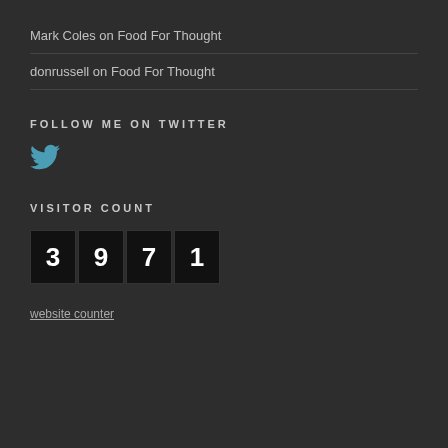Mark Coles on Food For Thought
donrussell on Food For Thought
FOLLOW ME ON TWITTER
[Figure (logo): Twitter bird icon in dark teal/blue color]
VISITOR COUNT
3971
website counter